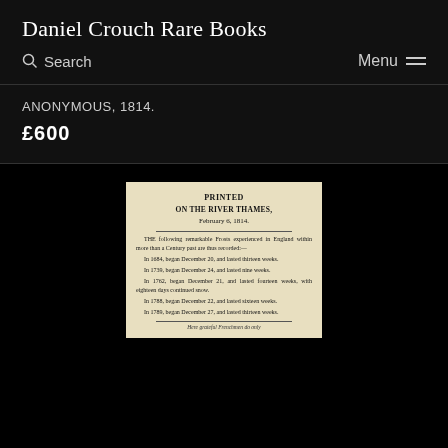Daniel Crouch Rare Books
Search   Menu
ANONYMOUS, 1814.
£600
[Figure (photo): Photograph of an antique printed broadsheet titled 'PRINTED ON THE RIVER THAMES, February 6, 1814.' The document is printed on aged yellowed paper and contains text about remarkable frosts experienced in England within more than a Century.]